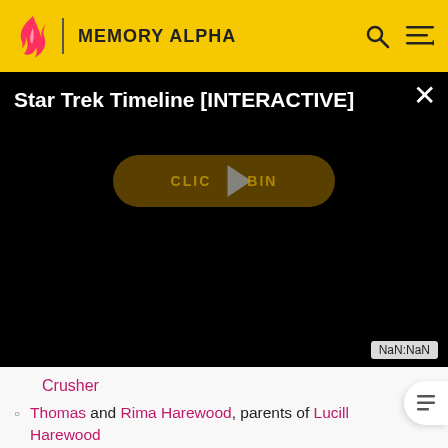MEMORY ALPHA
[Figure (screenshot): Video player showing 'Star Trek Timeline [INTERACTIVE]' with a black background, a play button overlay on a dark gold pill-shaped button reading 'CLICK TO BEGIN', and a NaN:NaN time display in the bottom right corner.]
Crusher
Thomas and Rima Harewood, parents of Lucille Harewood
Hiro Ishikawa and his wife, parents of Keiko O'Brien